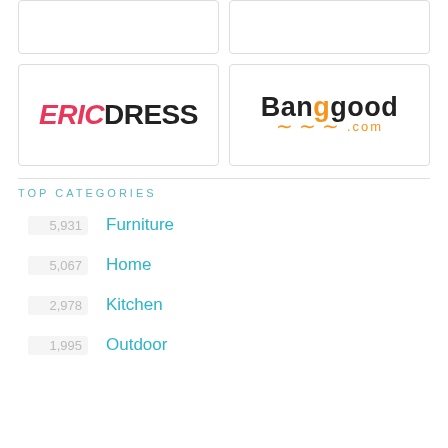[Figure (logo): Partial top row showing two logo boxes (content mostly cropped)]
[Figure (logo): EricDress logo — ERIC in pink italic, DRESS in black bold]
[Figure (logo): Banggood.com logo — Bang in black, g's in orange, .com in orange, with orange arrow underline]
TOP CATEGORIES
5,931   Furniture
5,067   Home
2,978   Kitchen
1,995   Outdoor